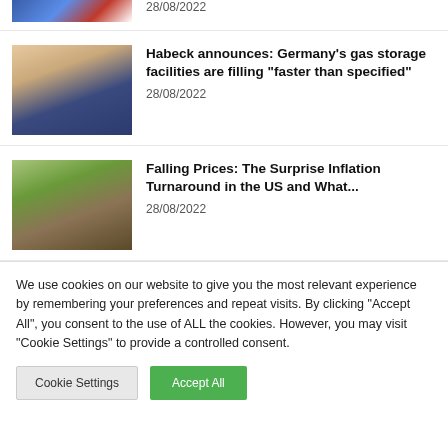[Figure (photo): Top partial news item thumbnail showing blue/red colored image (partially visible at top)]
28/08/2022
[Figure (photo): Photo of a man in a blue suit, Robert Habeck, sitting with arms crossed]
Habeck announces: Germany's gas storage facilities are filling “faster than specified”
28/08/2022
[Figure (photo): Photo of people shopping in a grocery store aisle]
Falling Prices: The Surprise Inflation Turnaround in the US and What...
28/08/2022
We use cookies on our website to give you the most relevant experience by remembering your preferences and repeat visits. By clicking “Accept All”, you consent to the use of ALL the cookies. However, you may visit “Cookie Settings” to provide a controlled consent.